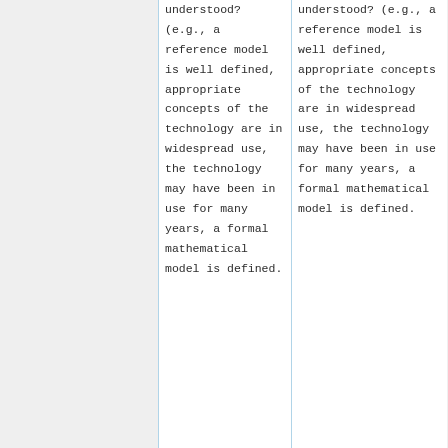understood? (e.g., a reference model is well defined, appropriate concepts of the technology are in widespread use, the technology may have been in use for many years, a formal mathematical model is defined.
understood? (e.g., a reference model is well defined, appropriate concepts of the technology are in widespread use, the technology may have been in use for many years, a formal mathematical model is defined.